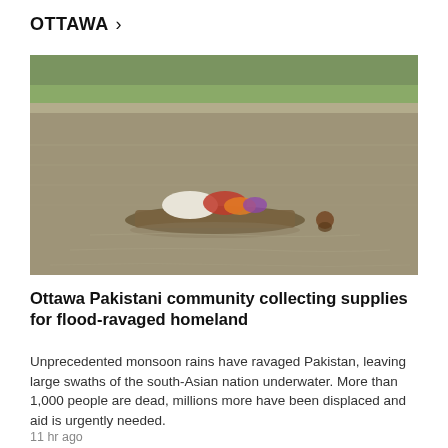OTTAWA >
[Figure (photo): Flood scene showing people on a makeshift raft floating on muddy brown floodwater, with green vegetation visible in the background.]
Ottawa Pakistani community collecting supplies for flood-ravaged homeland
Unprecedented monsoon rains have ravaged Pakistan, leaving large swaths of the south-Asian nation underwater. More than 1,000 people are dead, millions more have been displaced and aid is urgently needed.
11 hr ago